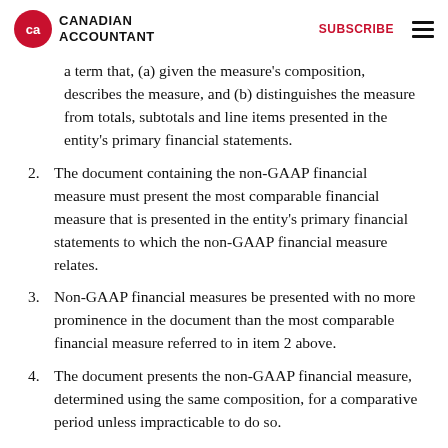CANADIAN ACCOUNTANT | SUBSCRIBE
a term that, (a) given the measure's composition, describes the measure, and (b) distinguishes the measure from totals, subtotals and line items presented in the entity's primary financial statements.
2. The document containing the non-GAAP financial measure must present the most comparable financial measure that is presented in the entity's primary financial statements to which the non-GAAP financial measure relates.
3. Non-GAAP financial measures be presented with no more prominence in the document than the most comparable financial measure referred to in item 2 above.
4. The document presents the non-GAAP financial measure, determined using the same composition, for a comparative period unless impracticable to do so.